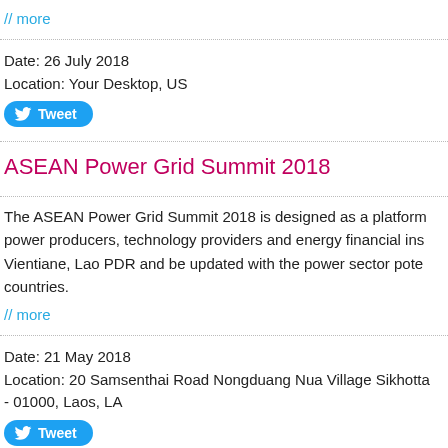// more
Date: 26 July 2018
Location: Your Desktop, US
[Figure (other): Tweet button]
ASEAN Power Grid Summit 2018
The ASEAN Power Grid Summit 2018 is designed as a platform power producers, technology providers and energy financial ins Vientiane, Lao PDR and be updated with the power sector pote countries.
// more
Date: 21 May 2018
Location: 20 Samsenthai Road Nongduang Nua Village Sikhotta - 01000, Laos, LA
[Figure (other): Tweet button]